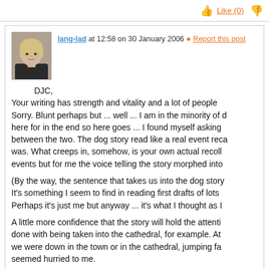Like (0)
lang-lad at 12:58 on 30 January 2006 • Report this post
DJC,
Your writing has strength and vitality and a lot of people Sorry. Blunt perhaps but ... well ... I am in the minority of here for in the end so here goes ... I found myself asking between the two. The dog story read like a real event reca was. What creeps in, somehow, is your own actual recoll events but for me the voice telling the story morphed into

(By the way, the sentence that takes us into the dog story It's something I seem to find in reading first drafts of lots Perhaps it's just me but anyway ... it's what I thought as I

A little more confidence that the story will hold the attenti done with being taken into the cathedral, for example. At we were down in the town or in the cathedral, jumping fa seemed hurried to me.